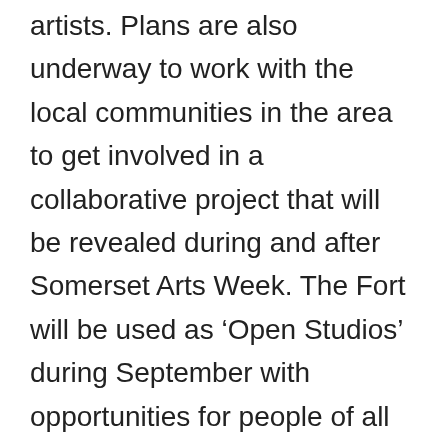artists. Plans are also underway to work with the local communities in the area to get involved in a collaborative project that will be revealed during and after Somerset Arts Week. The Fort will be used as ‘Open Studios’ during September with opportunities for people of all ages to get involved – culminating in an exhibition in October, in and around the dramatic Fort buildings – including a beach calligraphy installation of Dr. John Cooper Clarks’ work and a Big Draw event.
We can’t wait to see how it all comes together and would love to hear from you if you want to get involved – dates and details will be updated